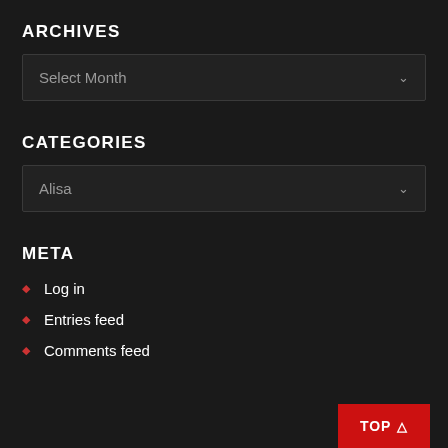ARCHIVES
[Figure (screenshot): Dropdown selector showing 'Select Month' with chevron arrow]
CATEGORIES
[Figure (screenshot): Dropdown selector showing 'Alisa' with chevron arrow]
META
Log in
Entries feed
Comments feed